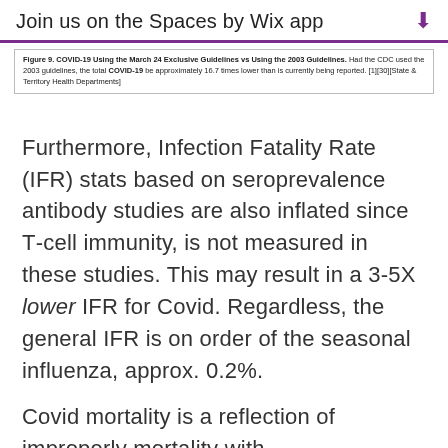Join us on the Spaces by Wix app
Figure 9. COVID-19 Using the March 24 Exclusive Guidelines vs Using the 2003 Guidelines. Had the CDC used the 2003 guidelines, the total COVID-19 be approximately 16.7 times lower than is currently being reported. [1][30][State & Territory Health Departments]
Furthermore, Infection Fatality Rate (IFR) stats based on seroprevalence antibody studies are also inflated since T-cell immunity, is not measured in these studies. This may result in a 3-5X lower IFR for Covid. Regardless, the general IFR is on order of the seasonal influenza, approx. 0.2%.
Covid mortality is a reflection of improperly mortality with...